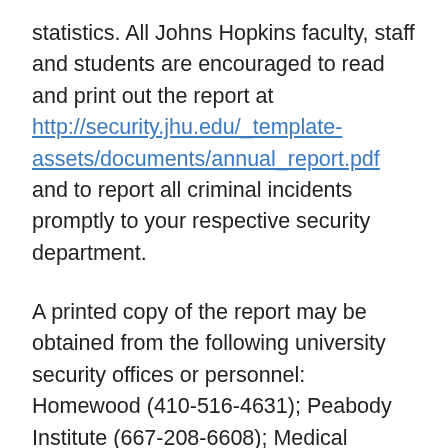statistics. All Johns Hopkins faculty, staff and students are encouraged to read and print out the report at http://security.jhu.edu/_template-assets/documents/annual_report.pdf and to report all criminal incidents promptly to your respective security department.
A printed copy of the report may be obtained from the following university security offices or personnel: Homewood (410-516-4631); Peabody Institute (667-208-6608); Medical Institutions (410-614-3473); Applied Physics Laboratory (443-778-4805); Harbor East Campus (410-234-9301); Columbia Center (410-516-9700); SAIS Bologna Center (202-663-5808, Int. +39.051.2917.811); Washington Centers – KSAS (202-663-5808); SAIS (202-663-5808); Carey Business